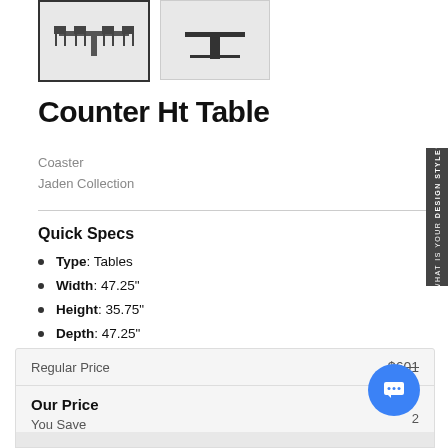[Figure (photo): Two thumbnail images of a Counter Ht Table — left thumbnail shows a full dining set with chairs (selected/active), right thumbnail shows just the table (inactive)]
Counter Ht Table
Coaster
Jaden Collection
Quick Specs
Type: Tables
Width: 47.25"
Height: 35.75"
Depth: 47.25"
|  | Price |
| --- | --- |
| Regular Price | $601 |
| Our Price |  |
| You Save | 2 |